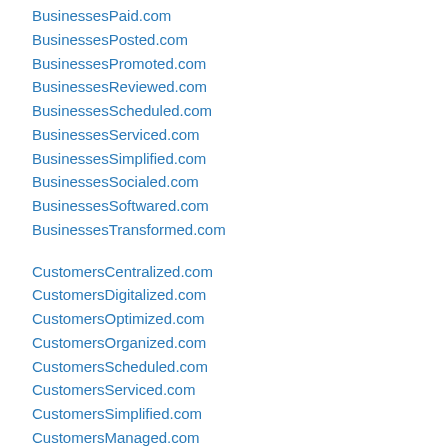BusinessesPaid.com
BusinessesPosted.com
BusinessesPromoted.com
BusinessesReviewed.com
BusinessesScheduled.com
BusinessesServiced.com
BusinessesSimplified.com
BusinessesSocialed.com
BusinessesSoftwared.com
BusinessesTransformed.com
CustomersCentralized.com
CustomersDigitalized.com
CustomersOptimized.com
CustomersOrganized.com
CustomersScheduled.com
CustomersServiced.com
CustomersSimplified.com
CustomersManaged.com